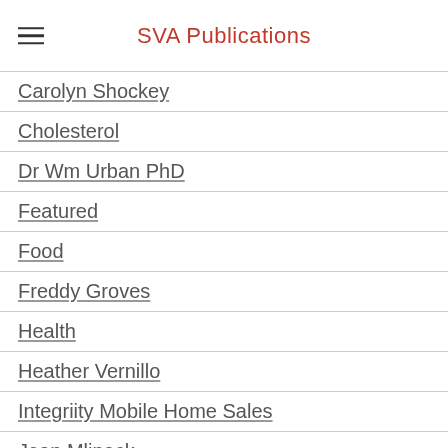SVA Publications
Carolyn Shockey
Cholesterol
Dr Wm Urban PhD
Featured
Food
Freddy Groves
Health
Heather Vernillo
Integriity Mobile Home Sales
Jean Mlineck
Justin Lavelle - BeenVerified
Letter To Editor
Local Politics
Local Tampa Bay